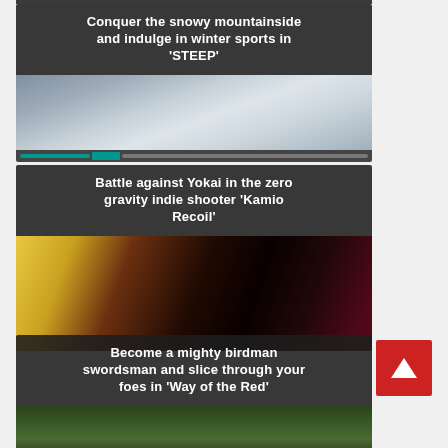[Figure (screenshot): Card for game 'STEEP' showing snowy mountainside, with title bar and slider navigation bar]
Conquer the snowy mountainside and indulge in winter sports in 'STEEP'
[Figure (screenshot): Card for game 'Kamio Recoil' showing anime characters on dark background]
Battle against Yokai in the zero gravity indie shooter 'Kamio Recoil'
[Figure (screenshot): Card for game 'Way of the Red' showing forest scene with red scroll-to-top button]
Become a mighty birdman swordsman and slice through your foes in 'Way of the Red'